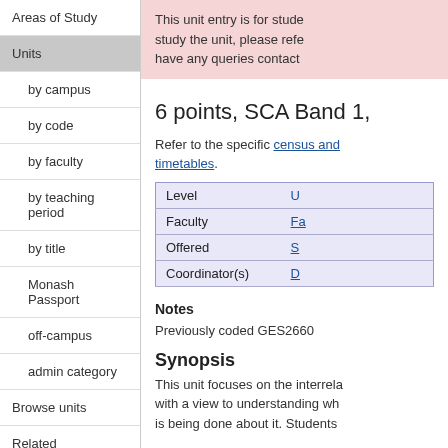Areas of Study
Units
by campus
by code
by faculty
by teaching period
by title
Monash Passport
off-campus
admin category
Browse units
Related information
This unit entry is for students. If you wish to study the unit, please refer to your Faculty handbook. If you have any queries contact your faculty.
6 points, SCA Band 1,
Refer to the specific census and important dates, timetables.
| Level |  |
| --- | --- |
| Level | U... |
| Faculty | Fa... |
| Offered | S... |
| Coordinator(s) | D... |
Notes
Previously coded GES2660
Synopsis
This unit focuses on the interrelationship between... with a view to understanding why... is being done about it. Students